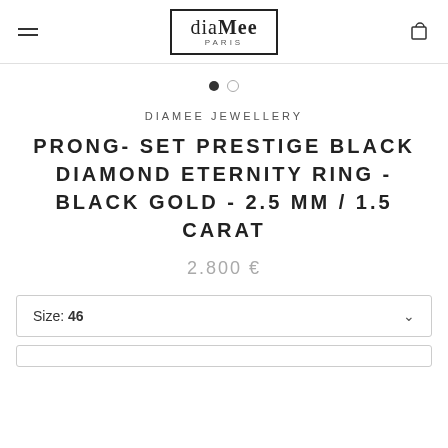diaMee PARIS
[Figure (other): Two pagination dots: one filled black, one empty circle]
DIAMEE JEWELLERY
PRONG- SET PRESTIGE BLACK DIAMOND ETERNITY RING - BLACK GOLD - 2.5 MM / 1.5 CARAT
2.800 €
Size: 46